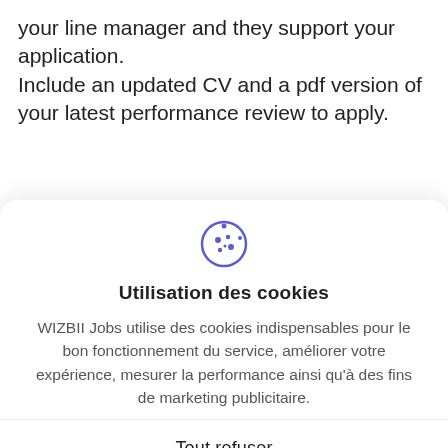your line manager and they support your application.
Include an updated CV and a pdf version of your latest performance review to apply.
[Figure (illustration): Cookie icon (small cookie with dots)]
Utilisation des cookies
WIZBII Jobs utilise des cookies indispensables pour le bon fonctionnement du service, améliorer votre expérience, mesurer la performance ainsi qu'à des fins de marketing publicitaire.
Tout refuser
Préférences
Accepter et fermer